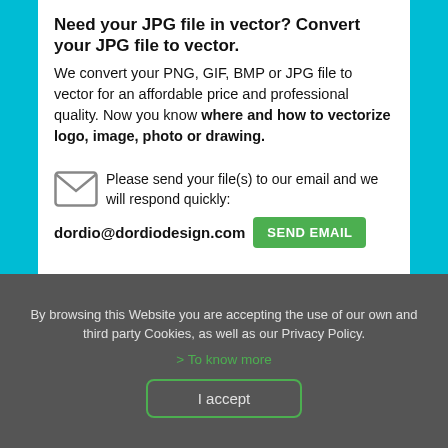Need your JPG file in vector? Convert your JPG file to vector.
We convert your PNG, GIF, BMP or JPG file to vector for an affordable price and professional quality. Now you know where and how to vectorize logo, image, photo or drawing.
Please send your file(s) to our email and we will respond quickly:
dordio@dordiodesign.com
SEND EMAIL
By browsing this Website you are accepting the use of our own and third party Cookies, as well as our Privacy Policy.
> To know more
I accept